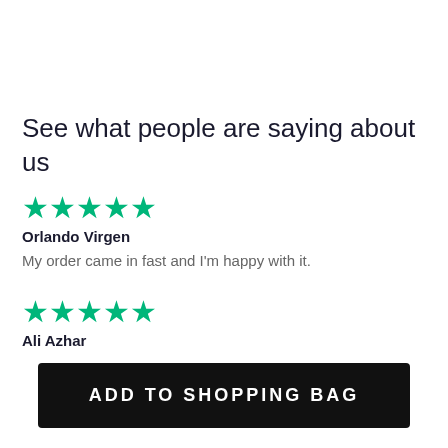See what people are saying about us
[Figure (other): Five green stars rating]
Orlando Virgen
My order came in fast and I'm happy with it.
[Figure (other): Five green stars rating]
Ali Azhar
ADD TO SHOPPING BAG